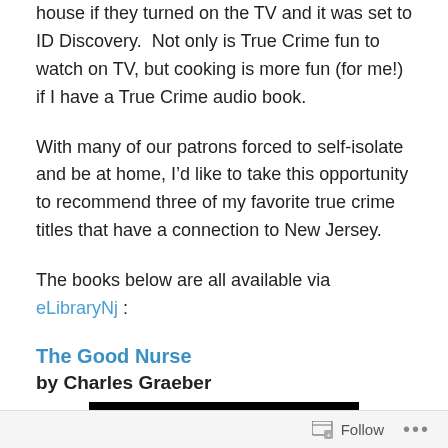house if they turned on the TV and it was set to ID Discovery.  Not only is True Crime fun to watch on TV, but cooking is more fun (for me!) if I have a True Crime audio book.
With many of our patrons forced to self-isolate and be at home, I’d like to take this opportunity to recommend three of my favorite true crime titles that have a connection to New Jersey.
The books below are all available via eLibraryNj :
The Good Nurse
by Charles Graeber
[Figure (photo): Black rectangular image, likely a book cover for The Good Nurse]
Follow ...